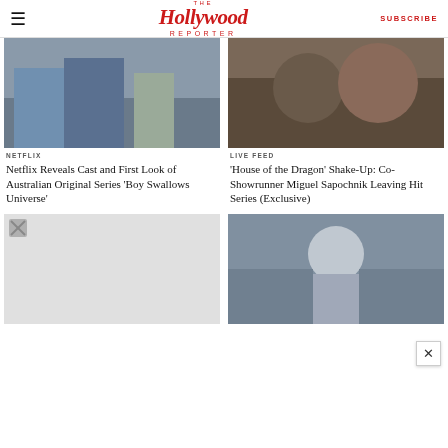The Hollywood Reporter | SUBSCRIBE
[Figure (photo): Scene from Netflix Australian original series Boy Swallows Universe showing children and adults outside a house]
NETFLIX
Netflix Reveals Cast and First Look of Australian Original Series 'Boy Swallows Universe'
[Figure (photo): Behind the scenes photo from House of the Dragon showing two people in discussion]
LIVE FEED
'House of the Dragon' Shake-Up: Co-Showrunner Miguel Sapochnik Leaving Hit Series (Exclusive)
[Figure (photo): Placeholder image - broken image icon on grey background]
[Figure (photo): Fantasy series scene showing blonde woman in silver armor surrounded by crowd]